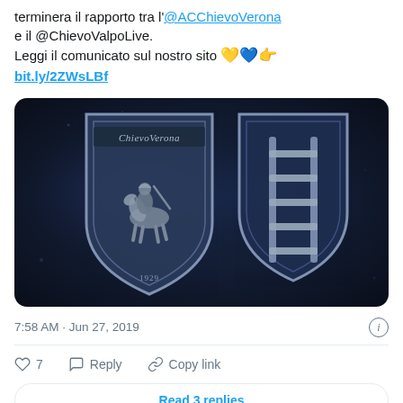terminerà il rapporto tra l'@ACChievoVerona e il @ChievoValpoLive.
Leggi il comunicato sul nostro sito 💛💙👉
bit.ly/2ZWsLBf
[Figure (photo): Two metallic shield crests on a dark blue background. Left shield bears the Chievo Verona crest with text 'Chievo Verona' and a knight on horseback, dated 1929. Right shield has a ladder symbol.]
7:58 AM · Jun 27, 2019
♡ 7   Reply   Copy link
Read 3 replies